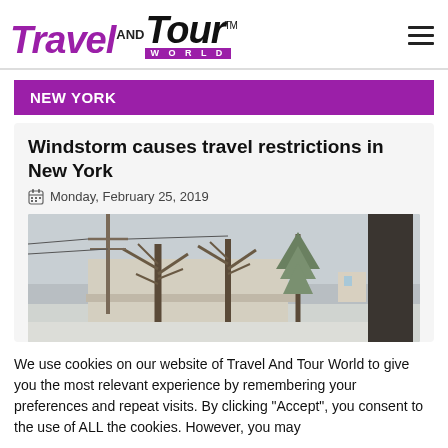Travel AND Tour World
NEW YORK
Windstorm causes travel restrictions in New York
Monday, February 25, 2019
[Figure (photo): Outdoor scene showing trees and utility poles in windy, wintry conditions with snow/grey sky]
We use cookies on our website of Travel And Tour World to give you the most relevant experience by remembering your preferences and repeat visits. By clicking “Accept”, you consent to the use of ALL the cookies. However, you may